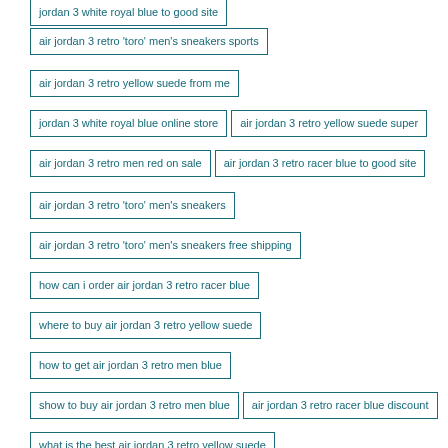jordan 3 white royal blue to good site
air jordan 3 retro 'toro' men's sneakers sports
air jordan 3 retro yellow suede from me
jordan 3 white royal blue online store
air jordan 3 retro yellow suede super
air jordan 3 retro men red on sale
air jordan 3 retro racer blue to good site
air jordan 3 retro 'toro' men's sneakers
air jordan 3 retro 'toro' men's sneakers free shipping
how can i order air jordan 3 retro racer blue
where to buy air jordan 3 retro yellow suede
how to get air jordan 3 retro men blue
show to buy air jordan 3 retro men blue
air jordan 3 retro racer blue discount
what is the best air jordan 3 retro yellow suede